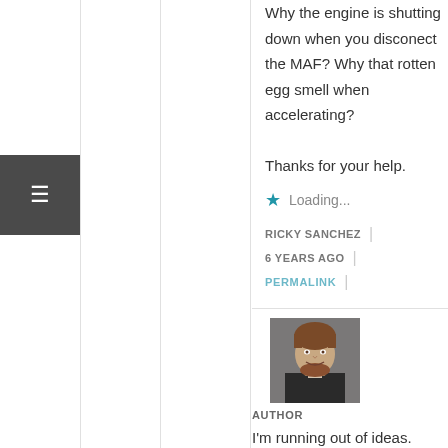Why the engine is shutting down when you disconect the MAF? Why that rotten egg smell when accelerating?

Thanks for your help.
Loading...
RICKY SANCHEZ | 6 YEARS AGO | PERMALINK |
[Figure (photo): Headshot photo of a man with reddish-brown hair and beard, smiling, wearing a dark jacket]
AUTHOR
I'm running out of ideas. Have you